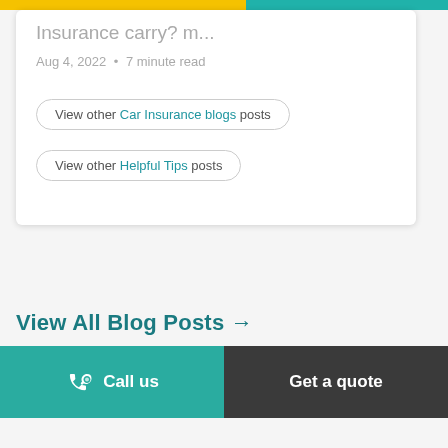Insurance carry? m...
Aug 4, 2022  •  7 minute read
View other Car Insurance blogs posts
View other Helpful Tips posts
View All Blog Posts →
Call us  |  Get a quote